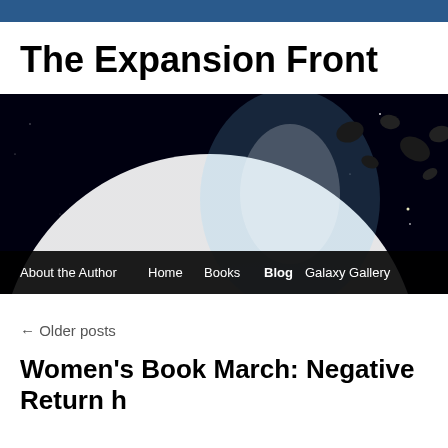The Expansion Front
[Figure (illustration): Space-themed banner image showing a blue planet with glowing rim light and asteroids in the background, with a navigation bar at the bottom showing links: About the Author, Home, Books, Blog (active/bold), Galaxy Gallery]
← Older posts
Women's Book March: Negative Return h